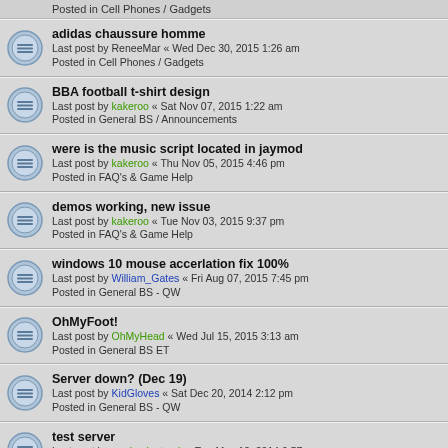Posted in Cell Phones / Gadgets
adidas chaussure homme
Last post by ReneeMar « Wed Dec 30, 2015 1:26 am
Posted in Cell Phones / Gadgets
BBA football t-shirt design
Last post by kakeroo « Sat Nov 07, 2015 1:22 am
Posted in General BS / Announcements
were is the music script located in jaymod
Last post by kakeroo « Thu Nov 05, 2015 4:46 pm
Posted in FAQ's & Game Help
demos working, new issue
Last post by kakeroo « Tue Nov 03, 2015 9:37 pm
Posted in FAQ's & Game Help
windows 10 mouse accerlation fix 100%
Last post by William_Gates « Fri Aug 07, 2015 7:45 pm
Posted in General BS - QW
OhMyFoot!
Last post by OhMyHead « Wed Jul 15, 2015 3:13 am
Posted in General BS ET
Server down? (Dec 19)
Last post by KidGloves « Sat Dec 20, 2014 2:12 pm
Posted in General BS - QW
test server
Last post by yardy_da_truck « Tue May 13, 2014 9:57 pm
Posted in General BS ET
Sad Hrunga
Last post by Hrunga_Zmuda « Fri Mar 14, 2014 10:22 am
Posted in General BS / Announcements
To play type ip into direct connect
Last post by William_Gates « Fri Jun 07, 2013 7:19 pm
Posted in General BS - QW